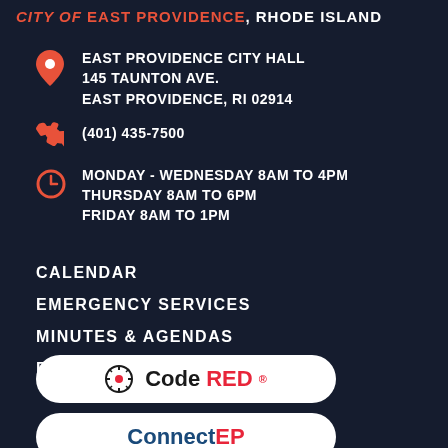CITY of EAST PROVIDENCE, RHODE ISLAND
EAST PROVIDENCE CITY HALL
145 TAUNTON AVE.
EAST PROVIDENCE, RI 02914
(401) 435-7500
MONDAY - WEDNESDAY 8AM TO 4PM
THURSDAY 8AM TO 6PM
FRIDAY 8AM TO 1PM
CALENDAR
EMERGENCY SERVICES
MINUTES & AGENDAS
RESIDENT SERVICES
[Figure (logo): CodeRED logo button - white rounded rectangle with CodeRED brand text and icon]
[Figure (logo): ConnectEP logo button - white rounded rectangle with ConnectEP brand text]